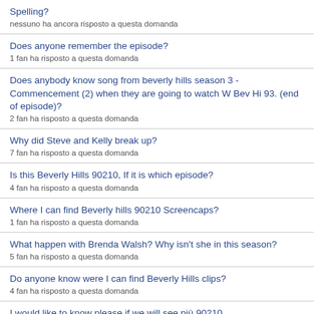Spelling?
nessuno ha ancora risposto a questa domanda
Does anyone remember the episode?
1 fan ha risposto a questa domanda
Does anybody know song from beverly hills season 3 - Commencement (2) when they are going to watch W Bev Hi 93. (end of episode)?
2 fan ha risposto a questa domanda
Why did Steve and Kelly break up?
7 fan ha risposto a questa domanda
Is this Beverly Hills 90210, If it is which episode?
4 fan ha risposto a questa domanda
Where I can find Beverly hills 90210 Screencaps?
1 fan ha risposto a questa domanda
What happen with Brenda Walsh? Why isn't she in this season?
5 fan ha risposto a questa domanda
Do anyone know were I can find Beverly Hills clips?
4 fan ha risposto a questa domanda
I would like to know please if we will see più 90210